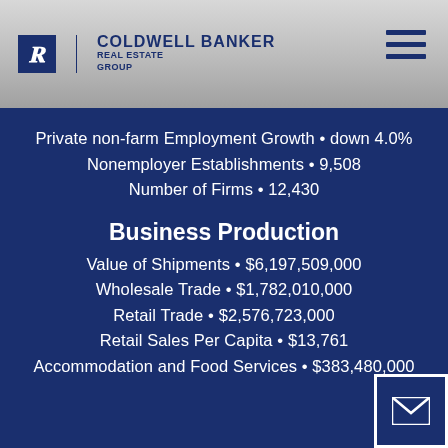[Figure (logo): Coldwell Banker Real Estate Group logo with CB icon and hamburger menu icon in header]
Private non-farm Employment Growth • down 4.0%
Nonemployer Establishments • 9,508
Number of Firms • 12,430
Business Production
Value of Shipments • $6,197,509,000
Wholesale Trade • $1,782,010,000
Retail Trade • $2,576,723,000
Retail Sales Per Capita • $13,761
Accommodation and Food Services • $383,480,000